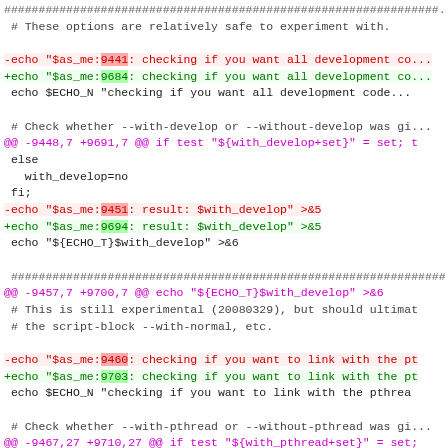###############################################################...
# These options are relatively safe to experiment with.
-echo "$as_me:9441: checking if you want all development co...
+echo "$as_me:9684: checking if you want all development co...
echo $ECHO_N "checking if you want all development code...
# Check whether --with-develop or --without-develop was gi...
@@ -9448,7 +9691,7 @@ if test "${with_develop+set}" = set; t
else
   with_develop=no
 fi;
-echo "$as_me:9451: result: $with_develop" >&5
+echo "$as_me:9694: result: $with_develop" >&5
echo "${ECHO_T}$with_develop" >&6
###############################################################...
@@ -9457,7 +9700,7 @@ echo "${ECHO_T}$with_develop" >&6
# This is still experimental (20080329), but should ultimat
# the script-block --with-normal, etc.
-echo "$as_me:9460: checking if you want to link with the pt
+echo "$as_me:9703: checking if you want to link with the pt
echo $ECHO_N "checking if you want to link with the pthrea
# Check whether --with-pthread or --without-pthread was gi...
@@ -9467,27 +9710,27 @@ if test "${with_pthread+set}" = set;
else
   with_pthread=no
 fi;
-echo "$as_me:9470: result: $with_pthread" >&5
+echo "$as_me:9713: result: $with_pthread" >&5